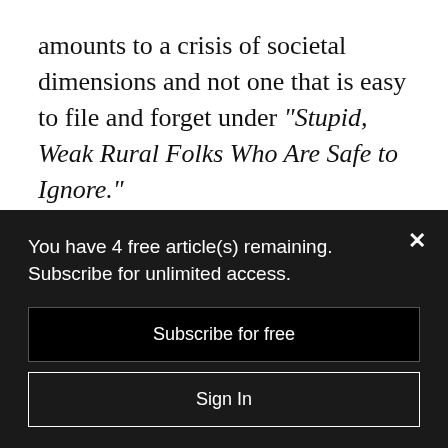amounts to a crisis of societal dimensions and not one that is easy to file and forget under “Stupid, Weak Rural Folks Who Are Safe to Ignore.”
“Recovery Boys,” “Heroin(e)” and coverage by dogged media outlets like the Charleston Gazette-Mail are bugle calls for all hands on
You have 4 free article(s) remaining. Subscribe for unlimited access.
Subscribe for free
Sign In